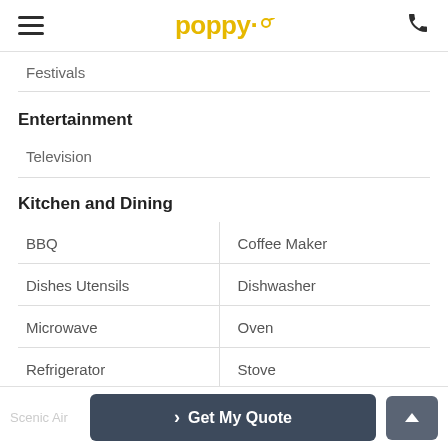Poppy (logo) — navigation header with hamburger menu and phone icon
Festivals
Entertainment
Television
Kitchen and Dining
BBQ | Coffee Maker
Dishes Utensils | Dishwasher
Microwave | Oven
Refrigerator | Stove
Leisure
Get My Quote button and scroll-to-top button